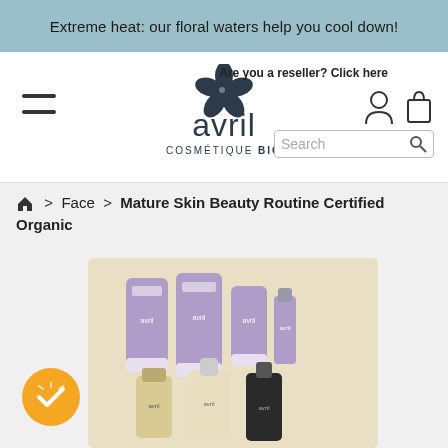Extreme heat: our floral waters help you cool down!
[Figure (logo): Avril Cosmétique Bio logo with flower icon]
Are you a reseller? Click here
Search
🏠 > Face > Mature Skin Beauty Routine Certified Organic
[Figure (photo): Flat lay of Avril organic face care products including purple tubes, bottles and sprays arranged on a beige background]